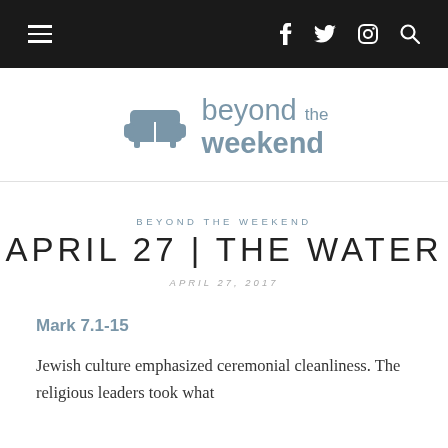Navigation bar with hamburger menu, social icons (Facebook, Twitter, Instagram), and search icon
[Figure (logo): Beyond the Weekend logo with sofa icon and text in blue-grey color]
BEYOND THE WEEKEND
APRIL 27 | THE WATER
APRIL 27, 2017
Mark 7.1-15
Jewish culture emphasized ceremonial cleanliness. The religious leaders took what